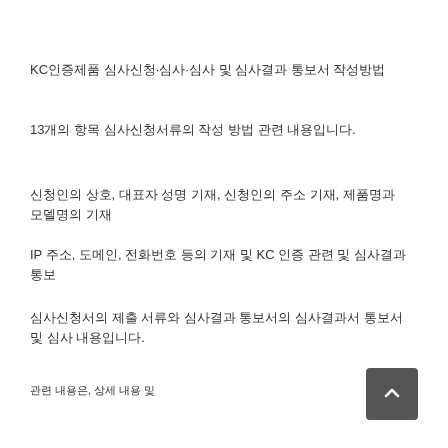KC인증제품 심사신청·심사·심사 및 심사결과 통보서 작성방법
13개의 항목 심사신청서류의 작성 방법 관련 내용입니다.
신청인의 상호, 대표자 성명 기재, 신청인의 주소 기재, 제품명과 모델명의 기재
IP 주소, 도메인, 전화번호 등의 기재 및 KC 인증 관련 및 심사결과 통보
심사신청서의 제출 서류와 심사결과 통보서의 심사결과서 통보서 및 심사 내용입니다.
관련 내용은, 상세 내용 및